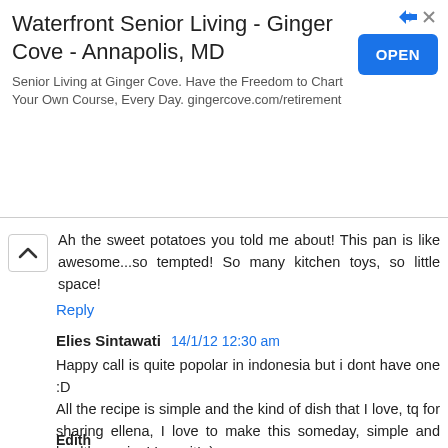[Figure (other): Advertisement banner for Waterfront Senior Living - Ginger Cove - Annapolis, MD with an OPEN button]
Ah the sweet potatoes you told me about! This pan is like awesome...so tempted! So many kitchen toys, so little space!
Reply
Elies Sintawati  14/1/12 12:30 am
Happy call is quite popolar in indonesia but i dont have one :D
All the recipe is simple and the kind of dish that I love, tq for sharing ellena, I love to make this someday, simple and healthy recipe! Love it! ;)
Reply